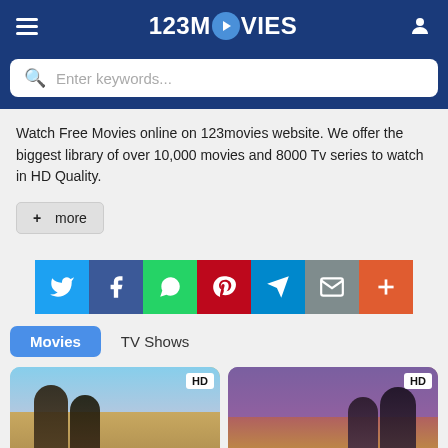[Figure (screenshot): 123Movies website header with hamburger menu, logo, and user icon on dark blue background]
Watch Free Movies online on 123movies website. We offer the biggest library of over 10,000 movies and 8000 Tv series to watch in HD Quality.
+ more
[Figure (infographic): Social sharing buttons row: Twitter (blue), Facebook (dark blue), WhatsApp (green), Pinterest (red), Telegram (blue), Email (gray), More (orange-red)]
Movies   TV Shows
[Figure (photo): Two movie thumbnail cards side by side, both labeled HD. Left card shows two male figures (Top Gun style). Right card shows figures on purple/red background.]